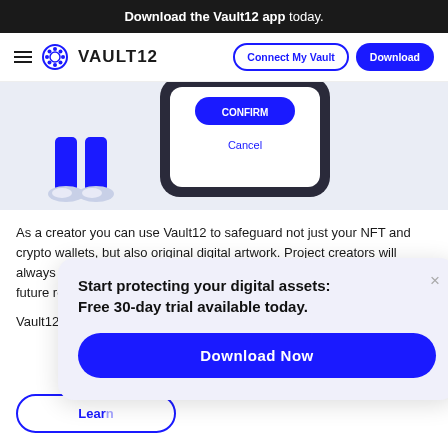Download the Vault12 app today.
[Figure (screenshot): Vault12 app website navigation bar with hamburger menu, Vault12 logo, Connect My Vault outline button, and Download solid blue button]
[Figure (illustration): Partial hero illustration showing a person in blue outfit next to a phone screen with a Cancel button on a light blue background]
As a creator you can use Vault12 to safeguard not just your NFT and crypto wallets, but also original digital artwork. Project creators will always have to deal with multiple wallets - inventory, treasury as well as future royalty wallets.
Vault12 safegu... decreasing the... to go to be pas...
[Figure (screenshot): Popup modal with title 'Start protecting your digital assets: Free 30-day trial available today.' and a 'Download Now' blue button, with an X close button]
Learn